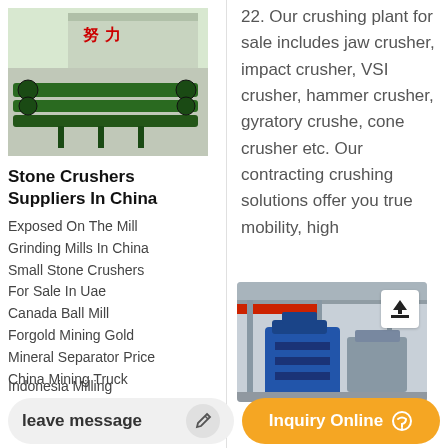[Figure (photo): Green industrial machines (possibly belt conveyors or crushers) parked in a yard with a building in the background. Chinese characters visible on the building.]
Stone Crushers Suppliers In China
Exposed On The Mill
Grinding Mills In China
Small Stone Crushers For Sale In Uae
Canada Ball Mill
Forgold Mining Gold
Mineral Separator Price
China Mining Truck
22. Our crushing plant for sale includes jaw crusher, impact crusher, VSI crusher, hammer crusher, gyratory crushe, cone crusher etc. Our contracting crushing solutions offer you true mobility, high
[Figure (photo): Interior of a factory/industrial facility showing blue machinery, red crane equipment, and industrial structure.]
Indonesia Milling
leave message
Inquiry Online